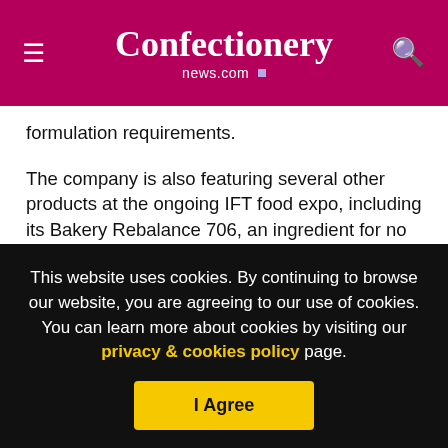Confectionery news.com
formulation requirements.
The company is also featuring several other products at the ongoing IFT food expo, including its Bakery Rebalance 706, an ingredient for no sugar added bakery products, which is also a good source of fiber and allows manufacturers to reduce calories to 1.3 per gram, as well as make 'good' or 'excellent' fiber claims.
Coated Snack Create 700 is also on show, and can be used to
This website uses cookies. By continuing to browse our website, you are agreeing to our use of cookies. You can learn more about cookies by visiting our privacy & cookies policy page.